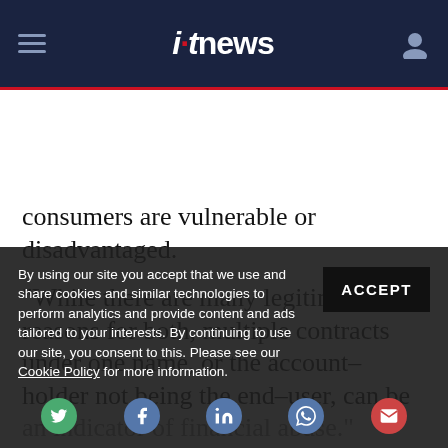itnews
consumers are vulnerable or disadvantaged.
“While there are many legitimate reasons for both, multiple contracts under one name, or the account-holder not being the end-user, can be an indicator of financial abuse.”
ACMA also recommended use of “automated assistance” to identify accounts associated with...
By using our site you accept that we use and share cookies and similar technologies to perform analytics and provide content and ads tailored to your interests. By continuing to use our site, you consent to this. Please see our Cookie Policy for more information.